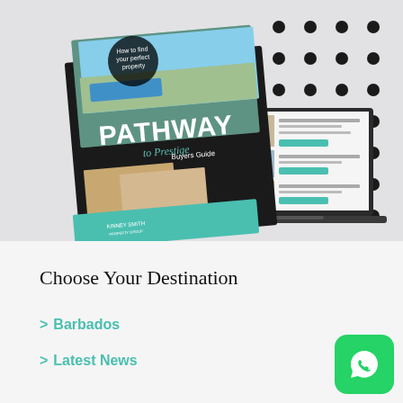[Figure (illustration): Marketing image showing a 'Pathway to Prestige Buyers Guide' book and a laptop displaying a real estate website, set against a dotted pattern background]
Choose Your Destination
Barbados
Latest News
[Figure (logo): WhatsApp button icon — green rounded square with white phone/chat icon]